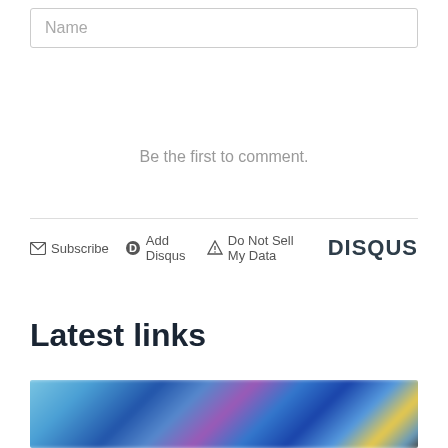Name
Be the first to comment.
Subscribe  Add Disqus  Do Not Sell My Data  DISQUS
Latest links
[Figure (photo): Blurred photo with blue, purple, and yellow colors, possibly depicting graffiti or colorful objects]